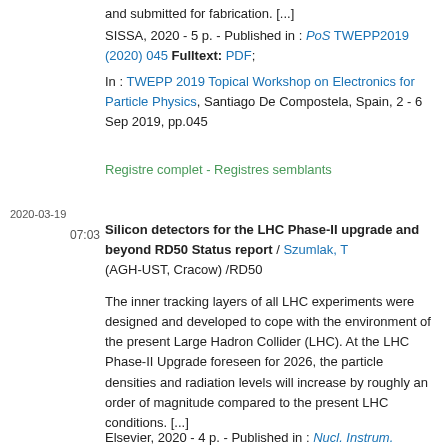and submitted for fabrication. [...]
SISSA, 2020 - 5 p. - Published in : PoS TWEPP2019 (2020) 045 Fulltext: PDF;
In : TWEPP 2019 Topical Workshop on Electronics for Particle Physics, Santiago De Compostela, Spain, 2 - 6 Sep 2019, pp.045
Registre complet - Registres semblants
2020-03-19
07:03
Silicon detectors for the LHC Phase-II upgrade and beyond RD50 Status report / Szumlak, T (AGH-UST, Cracow) /RD50
The inner tracking layers of all LHC experiments were designed and developed to cope with the environment of the present Large Hadron Collider (LHC). At the LHC Phase-II Upgrade foreseen for 2026, the particle densities and radiation levels will increase by roughly an order of magnitude compared to the present LHC conditions. [...]
Elsevier, 2020 - 4 p. - Published in : Nucl. Instrum.